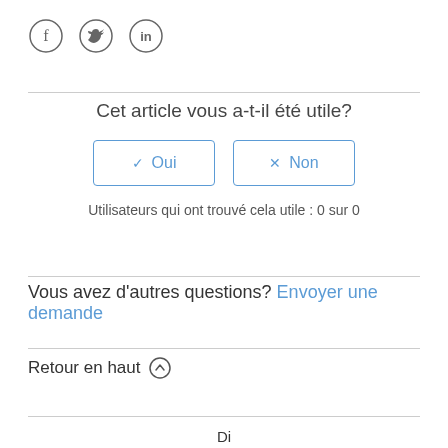[Figure (logo): Three social media icons: Facebook (f), Twitter (bird), LinkedIn (in) — each in a circle outline]
Cet article vous a-t-il été utile?
✓ Oui   ✗ Non (buttons)
Utilisateurs qui ont trouvé cela utile : 0 sur 0
Vous avez d'autres questions? Envoyer une demande
Retour en haut ↑
Di...